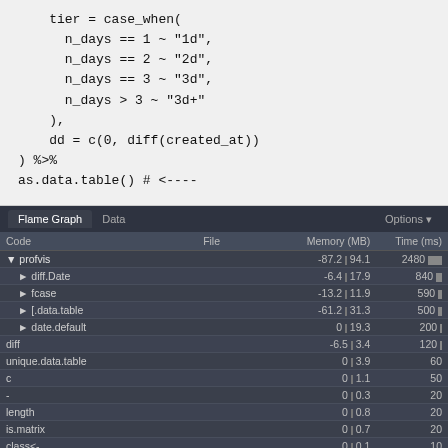tier = case_when(
    n_days == 1 ~ "1d",
    n_days == 2 ~ "2d",
    n_days == 3 ~ "3d",
    n_days > 3 ~ "3d+"
  ),
  dd = c(0, diff(created_at))
) %>%
as.data.table() # <----
| Code | File | Memory (MB) | Time (ms) |
| --- | --- | --- | --- |
| ▼ profvis |  | -87.2  94.1 | 2480 |
|   ► diff.Date |  | -6.4  17.9 | 840 |
|   ► fcase |  | -13.2  11.9 | 590 |
|   ► [.data.table |  | -61.2  31.3 | 500 |
|   ► date.default |  | 0  19.3 | 200 |
|   diff |  | -6.5  3.4 | 120 |
|   unique.data.table |  | 0  3.9 | 60 |
|   c |  | 0  1.1 | 50 |
|   - |  | 0  0.3 | 20 |
|   length |  | 0  0.8 | 20 |
|   is.matrix |  | 0  0.7 | 20 |
|   class<- |  | 0  0.1 | 10 |
|   order |  | 0  2.5 | 10 |
|   ► as.data.table.dtplyr_step |  | 0  0 | 10 |
|   all |  | 0  0.3 | 10 |
|   + |  | 0  0.3 | 10 |